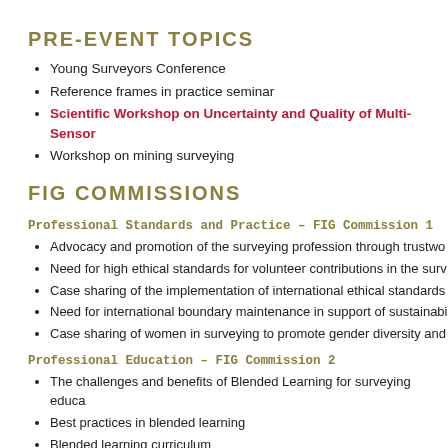PRE-EVENT TOPICS
Young Surveyors Conference
Reference frames in practice seminar
Scientific Workshop on Uncertainty and Quality of Multi-Sensor
Workshop on mining surveying
FIG COMMISSIONS
Professional Standards and Practice – FIG Commission 1
Advocacy and promotion of the surveying profession through trustwo
Need for high ethical standards for volunteer contributions in the surv
Case sharing of the implementation of international ethical standards
Need for international boundary maintenance in support of sustainabi
Case sharing of women in surveying to promote gender diversity and
Professional Education – FIG Commission 2
The challenges and benefits of Blended Learning for surveying educa
Best practices in blended learning
Blended learning curriculum
Blended learning technology and infrastructure
Lifelong learning